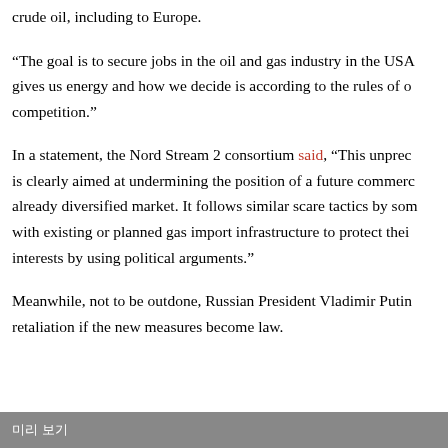crude oil, including to Europe.
“The goal is to secure jobs in the oil and gas industry in the USA gives us energy and how we decide is according to the rules of competition.”
In a statement, the Nord Stream 2 consortium said, “This unprecedented is clearly aimed at undermining the position of a future commercial already diversified market. It follows similar scare tactics by some with existing or planned gas import infrastructure to protect their interests by using political arguments.”
Meanwhile, not to be outdone, Russian President Vladimir Putin retaliation if the new measures become law.
미리 보기